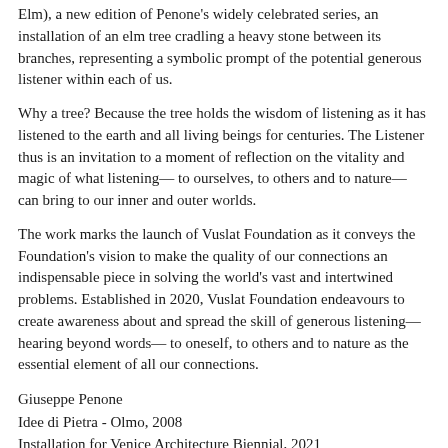Elm), a new edition of Penone's widely celebrated series, an installation of an elm tree cradling a heavy stone between its branches, representing a symbolic prompt of the potential generous listener within each of us.
Why a tree? Because the tree holds the wisdom of listening as it has listened to the earth and all living beings for centuries. The Listener thus is an invitation to a moment of reflection on the vitality and magic of what listening— to ourselves, to others and to nature— can bring to our inner and outer worlds.
The work marks the launch of Vuslat Foundation as it conveys the Foundation's vision to make the quality of our connections an indispensable piece in solving the world's vast and intertwined problems. Established in 2020, Vuslat Foundation endeavours to create awareness about and spread the skill of generous listening— hearing beyond words— to oneself, to others and to nature as the essential element of all our connections.
Giuseppe Penone
Idee di Pietra - Olmo, 2008
Installation for Venice Architecture Biennial, 2021
Bronze, river stone, water
847 × 280 × 170 cm